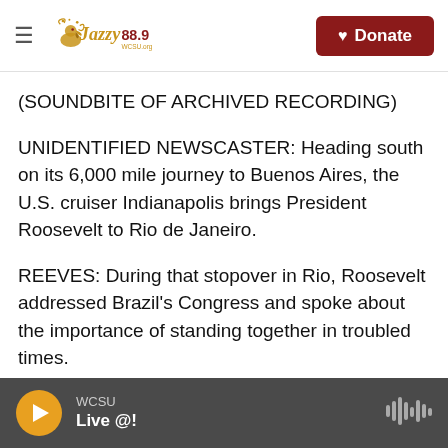Jazzy 88.9 | Donate
(SOUNDBITE OF ARCHIVED RECORDING)
UNIDENTIFIED NEWSCASTER: Heading south on its 6,000 mile journey to Buenos Aires, the U.S. cruiser Indianapolis brings President Roosevelt to Rio de Janeiro.
REEVES: During that stopover in Rio, Roosevelt addressed Brazil's Congress and spoke about the importance of standing together in troubled times.
(SOUNDBITE OF ARCHIVED RECORDING)
FRANKLIN D ROOSEVELT: We are showing in
WCSU Live @!